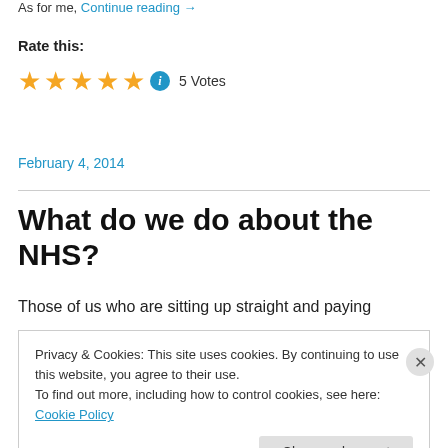As for me, Continue reading →
Rate this:
★★★★★ ℹ 5 Votes
February 4, 2014
What do we do about the NHS?
Those of us who are sitting up straight and paying
Privacy & Cookies: This site uses cookies. By continuing to use this website, you agree to their use.
To find out more, including how to control cookies, see here: Cookie Policy
Close and accept